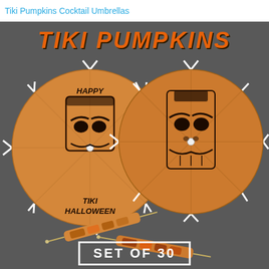Tiki Pumpkins Cocktail Umbrellas
[Figure (photo): Product photo of Tiki Pumpkins Cocktail Umbrellas on dark gray background. Two large open orange cocktail umbrellas with tiki mask designs — left reads 'Happy Tiki Halloween', right shows a tiki face. Two closed/folded umbrellas shown below. Bottom shows partial 'SET OF 30' text in white on dark background with white border frame. Large 'TIKI PUMPKINS' orange italic text at the top of the image area.]